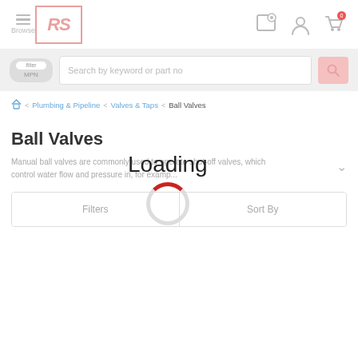[Figure (screenshot): RS Components website header with hamburger menu, RS logo, location pin icon, user account icon, and shopping cart icon with 0 badge]
[Figure (screenshot): Search bar with MPN toggle and placeholder text 'Search by keyword or part no' and search icon button]
Plumbing & Pipeline > Valves & Taps > Ball Valves
Ball Valves
Loading
Manual ball valves are commonly used to operate shut-off valves, which control water flow and pressure in, for examp...
Filters
Sort By